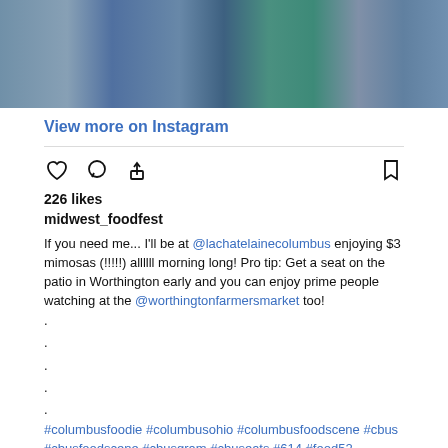[Figure (photo): Partial photo of people in denim jackets, blue/teal colors visible from torso down]
View more on Instagram
226 likes
midwest_foodfest
If you need me... I'll be at @lachatelainecolumbus enjoying $3 mimosas (!!!!!) allllll morning long! Pro tip: Get a seat on the patio in Worthington early and you can enjoy prime people watching at the @worthingtonfarmersmarket too!
.
.
.
.
.
#columbusfoodie #columbusohio #columbusfoodscene #cbus #cbusfoodscene #cbusgram #cbuseats #614 #food52 #cbusfood #cbuslocallove #eat614 #614eats #614columbus #614food #midwestfoodfest #614magazine #cravecbus #onlyincbus #61fork #columbusliving #chusgram #ohiogram